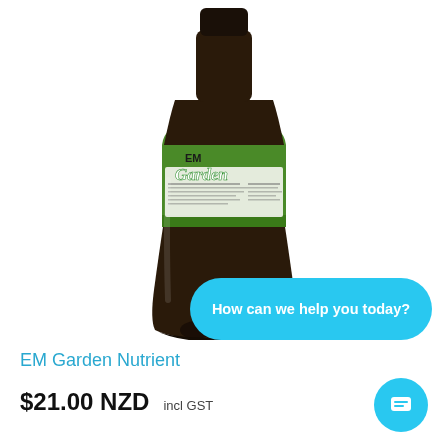[Figure (photo): A dark brown plastic bottle with a green label reading 'EM Garden' — an all-purpose garden fertilizer product. The label has green and white text with plant imagery.]
How can we help you today?
EM Garden Nutrient
$21.00 NZD incl GST